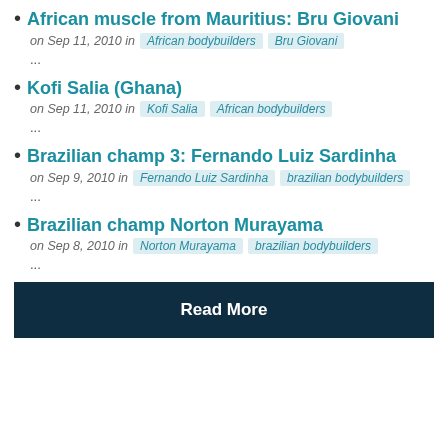African muscle from Mauritius: Bru Giovani — on Sep 11, 2010 in African bodybuilders | Bru Giovani — ...
Kofi Salia (Ghana) — on Sep 11, 2010 in Kofi Salia | African bodybuilders — ...
Brazilian champ 3: Fernando Luiz Sardinha — on Sep 9, 2010 in Fernando Luiz Sardinha | brazilian bodybuilders — ...
Brazilian champ Norton Murayama — on Sep 8, 2010 in Norton Murayama | brazilian bodybuilders — ...
Read More